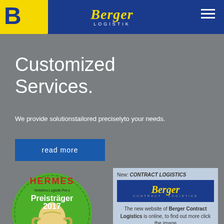[Figure (logo): Berger Logistik header with blue background, yellow B logo on left, Berger Logistik text in center, hamburger menu on right]
Customized Services.
We provide solutionstailored preciselyto your needs.
read more
[Figure (illustration): Hermes Verkehrs.Logistik.Preis Preisträger 2017 circular green award badge with trophy]
[Figure (logo): New: CONTRACT LOGISTICS - Berger Contract Logistics logo with text: The new website of Berger Contract Logistics is online, to find out more click the image]